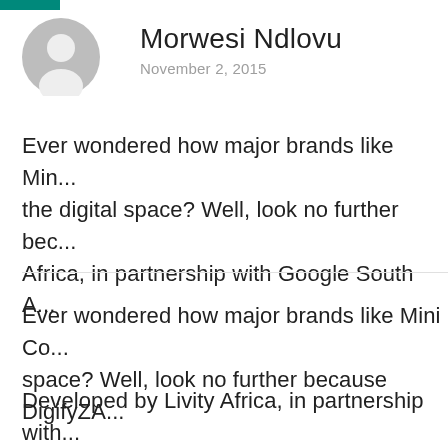[Figure (illustration): Circular grey avatar/profile icon with a generic person silhouette]
Morwesi Ndlovu
November 2, 2015
Ever wondered how major brands like Min... the digital space? Well, look no further bec... Africa, in partnership with Google South A...
Ever wondered how major brands like Mini Co... space? Well, look no further because DigifyZA...
Developed by Livity Africa, in partnership with... camp, which was created to introduce young p...